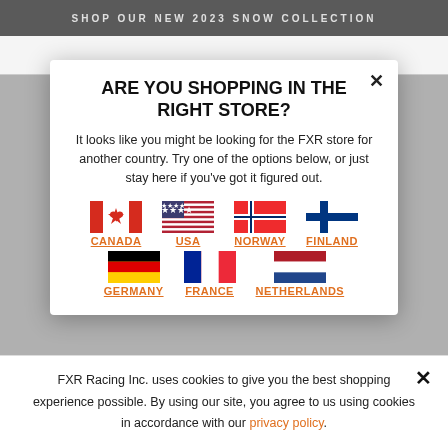SHOP OUR NEW 2023 SNOW COLLECTION
ARE YOU SHOPPING IN THE RIGHT STORE?
It looks like you might be looking for the FXR store for another country. Try one of the options below, or just stay here if you've got it figured out.
CANADA
USA
NORWAY
FINLAND
GERMANY
FRANCE
NETHERLANDS
FXR Racing Inc. uses cookies to give you the best shopping experience possible. By using our site, you agree to us using cookies in accordance with our privacy policy.